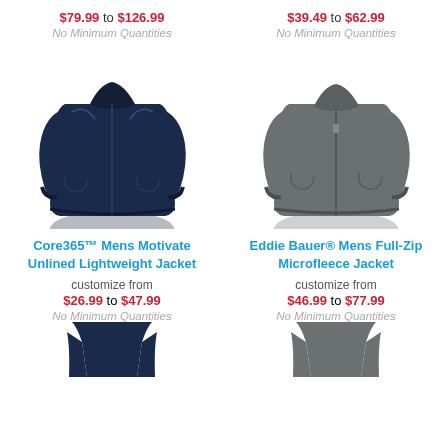$79.99 to $126.99
$39.49 to $62.99
No Minimum Quantities
No Minimum Quantities
[Figure (photo): Navy blue men's lightweight jacket]
[Figure (photo): Charcoal grey men's full-zip microfleece jacket]
Core365™ Mens Motivate Unlined Lightweight Jacket
Eddie Bauer® Mens Full-Zip Microfleece Jacket
customize from
$26.99 to $47.99
No Minimum Quantities
customize from
$46.99 to $77.99
No Minimum Quantities
[Figure (photo): Bottom of navy jacket product image]
[Figure (photo): Bottom of grey jacket product image]